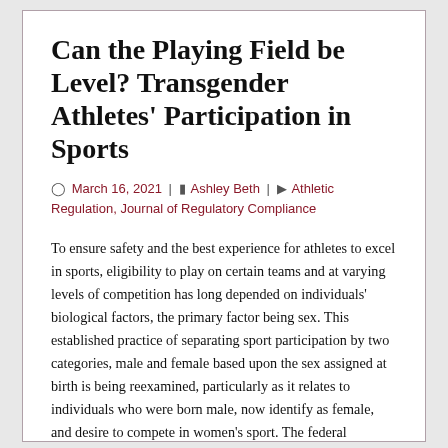Can the Playing Field be Level? Transgender Athletes' Participation in Sports
March 16, 2021 | Ashley Beth | Athletic Regulation, Journal of Regulatory Compliance
To ensure safety and the best experience for athletes to excel in sports, eligibility to play on certain teams and at varying levels of competition has long depended on individuals' biological factors, the primary factor being sex. This established practice of separating sport participation by two categories, male and female based upon the sex assigned at birth is being reexamined, particularly as it relates to individuals who were born male, now identify as female, and desire to compete in women's sport. The federal government, state governments, and sport governing bodies are addressing the matters presented by athletes who transition genders, with opposition by both sides of the issues seemingly being the only